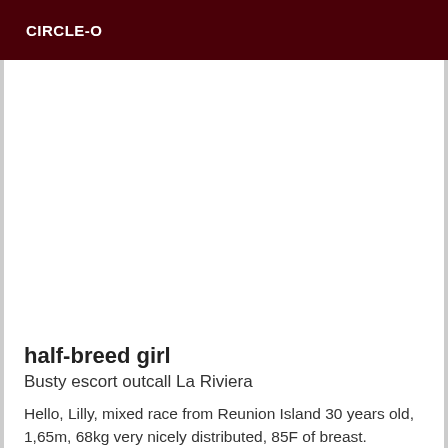CIRCLE-O
[Figure (photo): Large photo placeholder area (white/blank image area)]
half-breed girl
Busty escort outcall La Riviera
Hello, Lilly, mixed race from Reunion Island 30 years old, 1,65m, 68kg very nicely distributed, 85F of breast.